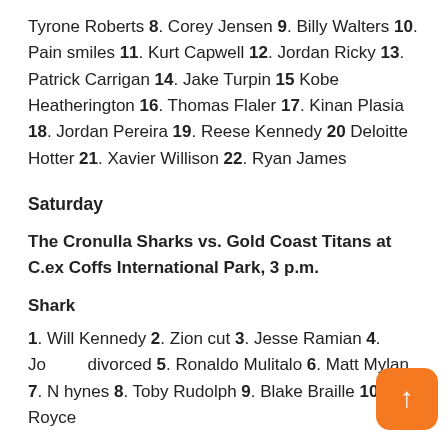Tyrone Roberts 8. Corey Jensen 9. Billy Walters 10. Pain smiles 11. Kurt Capwell 12. Jordan Ricky 13. Patrick Carrigan 14. Jake Turpin 15 Kobe Heatherington 16. Thomas Flaler 17. Kinan Plasia 18. Jordan Pereira 19. Reese Kennedy 20 Deloitte Hotter 21. Xavier Willison 22. Ryan James
Saturday
The Cronulla Sharks vs. Gold Coast Titans at C.ex Coffs International Park, 3 p.m.
Shark
1. Will Kennedy 2. Zion cut 3. Jesse Ramian 4. Joseph divorced 5. Ronaldo Mulitalo 6. Matt Mylan 7. N hynes 8. Toby Rudolph 9. Blake Braille 10. Royce